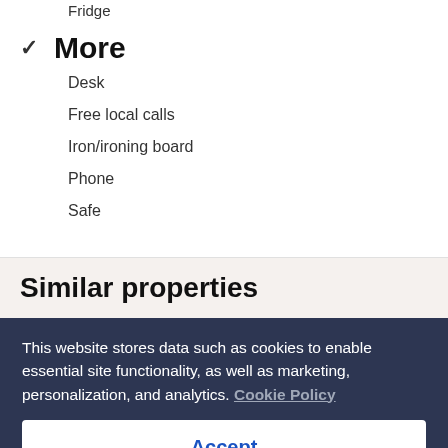Fridge
✓ More
Desk
Free local calls
Iron/ironing board
Phone
Safe
Similar properties
This website stores data such as cookies to enable essential site functionality, as well as marketing, personalization, and analytics. Cookie Policy
Accept
Deny